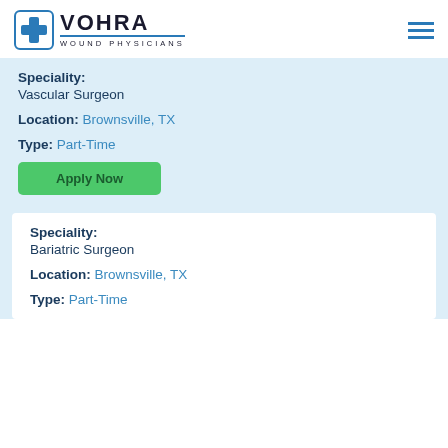[Figure (logo): Vohra Wound Physicians logo with medical cross icon and text]
Speciality: Vascular Surgeon
Location: Brownsville, TX
Type: Part-Time
Apply Now
Speciality: Bariatric Surgeon
Location: Brownsville, TX
Type: Part-Time